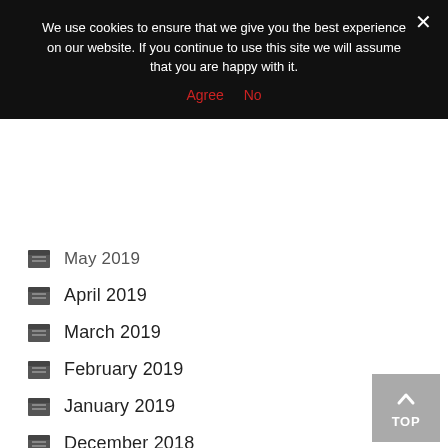We use cookies to ensure that we give you the best experience on our website. If you continue to use this site we will assume that you are happy with it.
Agree   No
May 2019
April 2019
March 2019
February 2019
January 2019
December 2018
November 2018
October 2018
September 2018
August 2018
July 2018